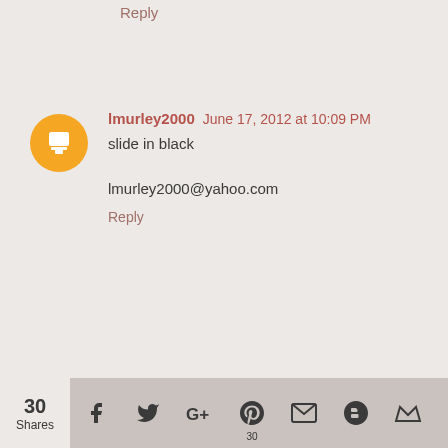Reply
lmurley2000 June 17, 2012 at 10:09 PM
slide in black

lmurley2000@yahoo.com
Reply
Maegan Morin June 18, 2012 at 1:27 AM
I like the OOriginal Thong in Fuschia!!
Reply
Trisha McKee June 18, 2012 at 4:22 AM
The slide in black.
30 Shares | Social share icons: Facebook, Twitter, Google+, Pinterest (30), Email, Blogger, Crown